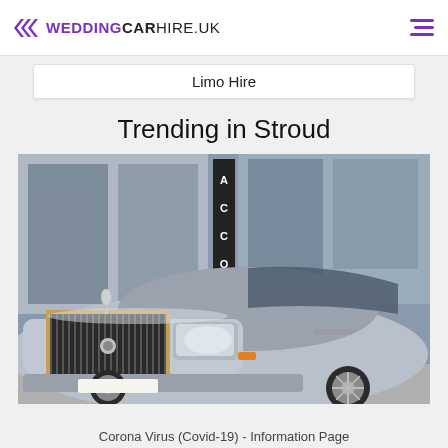WEDDINGCARHIRE.UK
Limo Hire
Trending in Stroud
[Figure (photo): Silver Rolls-Royce Phantom luxury car photographed from the front-left angle outside a building with glass facade and a sign reading 'ACCO'.]
Corona Virus (Covid-19) - Information Page